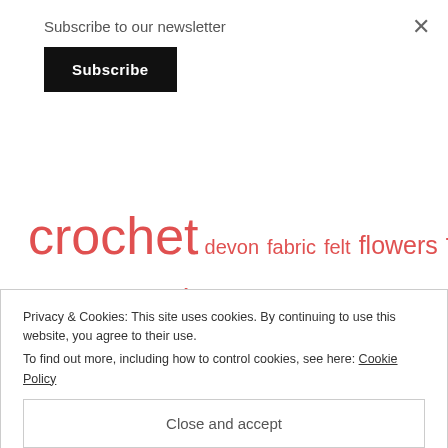Subscribe to our newsletter
Subscribe
crochet  devon  fabric  felt  flowers  free pattern  garden  holiday  outside  sewing  veg patch  vintage  vlogging
Privacy & Cookies: This site uses cookies. By continuing to use this website, you agree to their use.
To find out more, including how to control cookies, see here: Cookie Policy
Close and accept